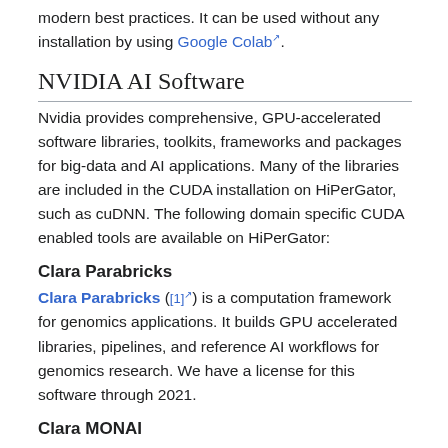modern best practices. It can be used without any installation by using Google Colab.
NVIDIA AI Software
Nvidia provides comprehensive, GPU-accelerated software libraries, toolkits, frameworks and packages for big-data and AI applications. Many of the libraries are included in the CUDA installation on HiPerGator, such as cuDNN. The following domain specific CUDA enabled tools are available on HiPerGator:
Clara Parabricks
Clara Parabricks ([1]) is a computation framework for genomics applications. It builds GPU accelerated libraries, pipelines, and reference AI workflows for genomics research. We have a license for this software through 2021.
Clara MONAI
Clara MONAI ([2]) is the open-source foundation being created by Project MONAI. MONAI is a freely available, community-